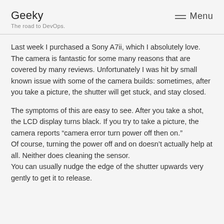Geeky
The road to DevOps.
Menu
Last week I purchased a Sony A7ii, which I absolutely love. The camera is fantastic for some many reasons that are covered by many reviews. Unfortunately I was hit by small known issue with some of the camera builds: sometimes, after you take a picture, the shutter will get stuck, and stay closed.
The symptoms of this are easy to see. After you take a shot, the LCD display turns black. If you try to take a picture, the camera reports “camera error turn power off then on.” Of course, turning the power off and on doesn’t actually help at all. Neither does cleaning the sensor. You can usually nudge the edge of the shutter upwards very gently to get it to release.